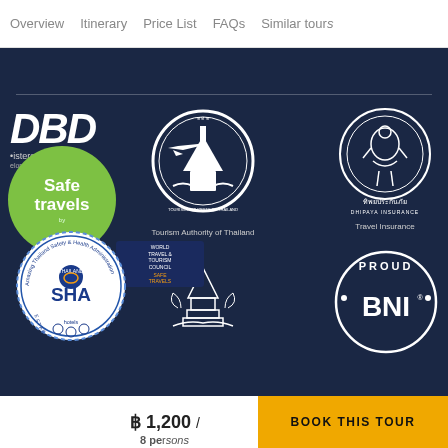Overview  Itinerary  Price List  FAQs  Similar tours
[Figure (logo): DBD registered logo with 'Safe travels' green circle badge and WTTC badge overlay]
[Figure (logo): Tourism Authority of Thailand circular logo with white emblem and text]
[Figure (logo): Dhipaya Insurance (ทิพยประกันภัย) circular logo with deity figure]
[Figure (logo): SHA (Amazing Thailand Safety & Health Administration) stamp badge]
[Figure (logo): Thai temple / pagoda white line art logo]
[Figure (logo): BNI Proud member circular badge]
฿ 1,200 /
8 persons
BOOK THIS TOUR